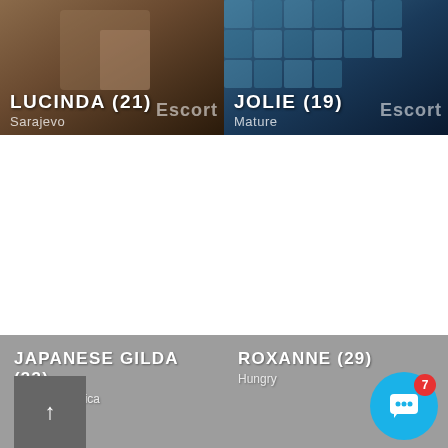[Figure (photo): Photo card of Lucinda (21) from Sarajevo, escort listing, dark warm-toned background]
LUCINDA (21)
Sarajevo
[Figure (photo): Photo card of Jolie (19), Mature escort listing, blue tiled pool background]
JOLIE (19)
Mature
[Figure (photo): Photo card of Japanese Gilda (33), Escort in Zenica listing, partially visible bottom card]
JAPANESE GILDA (33)
Escort in Zenica
[Figure (photo): Photo card of Roxanne (29), Hungry listing, partially visible bottom card]
ROXANNE (29)
Hungry